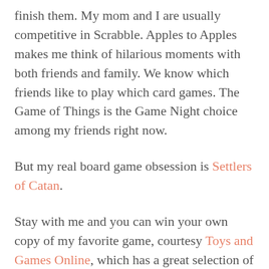finish them. My mom and I are usually competitive in Scrabble. Apples to Apples makes me think of hilarious moments with both friends and family. We know which friends like to play which card games. The Game of Things is the Game Night choice among my friends right now.
But my real board game obsession is Settlers of Catan.
Stay with me and you can win your own copy of my favorite game, courtesy Toys and Games Online, which has a great selection of online toys and games. [For the record, this is my first blog giveaway, and I'm really excited about